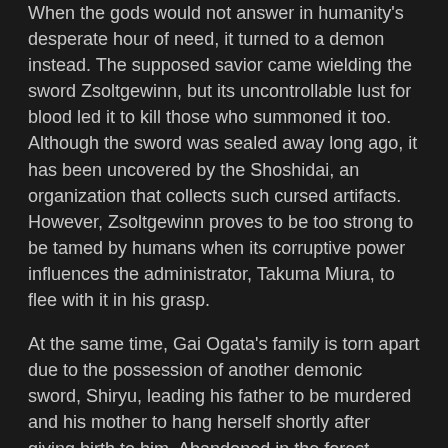When the gods would not answer in humanity's desperate hour of need, it turned to a demon instead. The supposed savior came wielding the sword Zsoltgewinn, but its uncontrollable lust for blood led it to kill those who summoned it too. Although the sword was sealed away long ago, it has been uncovered by the Shoshidai, an organization that collects such cursed artifacts. However, Zsoltgewinn proves to be too strong to be tamed by humans when its corruptive power influences the administrator, Takuma Miura, to flee with it in his grasp.
At the same time, Gai Ogata's family is torn apart due to the possession of another demonic sword, Shiryu, leading his father to be murdered and his mother to hang herself shortly after giving birth to him. Abandoned in the forest clutching the blade, he is discovered by the blacksmith Amon. Unnaturally transfixed by the sword, Gai works tirelessly for years to hone his smithing skills. However, when an accident costs him his arm, he gains a new one—in the form of a reforged Shiryu.
Now having a cursed sword for an arm, Gai must learn to control its violent urges. All the while, Zsoltgewinn continues its rampage, leaving a path of blood in its wake.
You Can Find Anime for Keywords:
kissanime Sword Gai The Animation (Dub), watch Sword Gai The Animation (Dub), Sword Gai The Animation (Dub) 720p - 1080p,